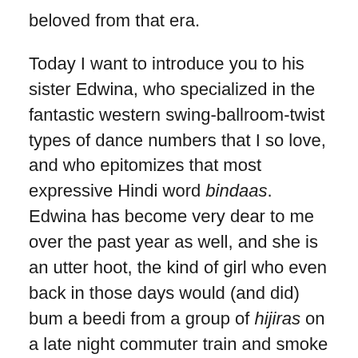beloved from that era.
Today I want to introduce you to his sister Edwina, who specialized in the fantastic western swing-ballroom-twist types of dance numbers that I so love, and who epitomizes that most expressive Hindi word bindaas. Edwina has become very dear to me over the past year as well, and she is an utter hoot, the kind of girl who even back in those days would (and did) bum a beedi from a group of hijiras on a late night commuter train and smoke it with them.
Starting in the mid 1950s (alongside her brother and sister Marie, also later a choreographer), Edwina began a career as a background dancer and extra which lasted until her emigration from India in 1967. Tall and strikingly beautiful, she is easy to pick out of a crowd (and she rocks a tiara,